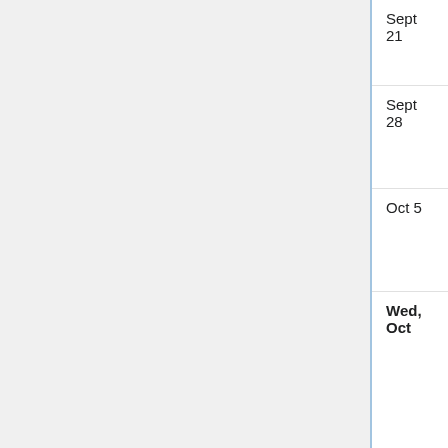| Date | Speaker | Title |
| --- | --- | --- |
| Sept 21 | McLaughlin (RPI) | Biomechanical Parameters in Dynamic Elastography |
| Sept 28 | Eric Marberg (MIT) | Supercharacters for algebra groups: applications and extensions |
| Oct 5 | Howard Masur (Chicago) | Winning games for badly approximable real numbers and billiards in polygons |
| Wed, Oct | Bas Lemmens | From hyperbolic geometry to nonlinear |